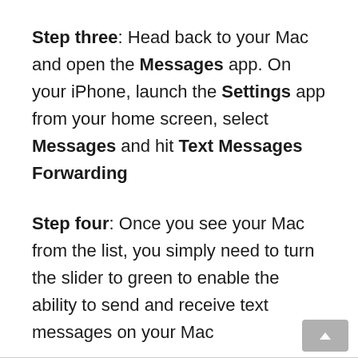Step three: Head back to your Mac and open the Messages app. On your iPhone, launch the Settings app from your home screen, select Messages and hit Text Messages Forwarding
Step four: Once you see your Mac from the list, you simply need to turn the slider to green to enable the ability to send and receive text messages on your Mac